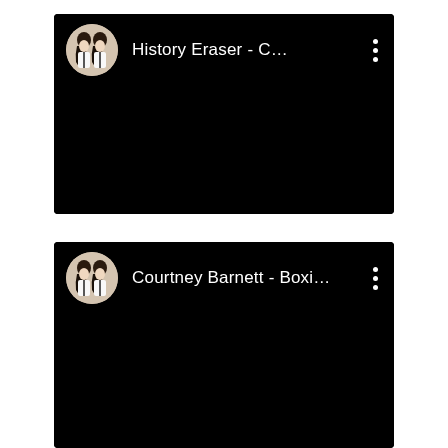[Figure (screenshot): YouTube music video card showing 'History Eraser - C...' with artist avatar (two women in black and white striped outfits) and three-dot menu icon, dark/black background]
[Figure (screenshot): YouTube music video card showing 'Courtney Barnett - Boxi...' with artist avatar (two women in black and white striped outfits) and three-dot menu icon, dark/black background]